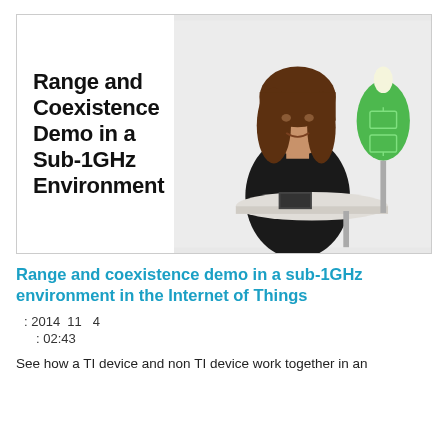[Figure (photo): Thumbnail image for a video showing text 'Range and Coexistence Demo in a Sub-1GHz Environment' on the left, and a woman seated at a table with a green oval lamp/device on the right.]
Range and coexistence demo in a sub-1GHz environment in the Internet of Things
: 2014 11 4
: 02:43
See how a TI device and non TI device work together in an